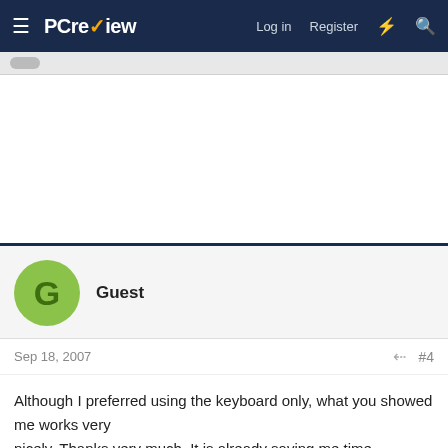≡  PCreview   Log in   Register   ⚡   🔍
[Figure (other): Advertisement/white space block]
Guest
Sep 18, 2007  #4
Although I preferred using the keyboard only, what you showed me works very
nicely. Thanks very much. It is already saving me time.

Bob